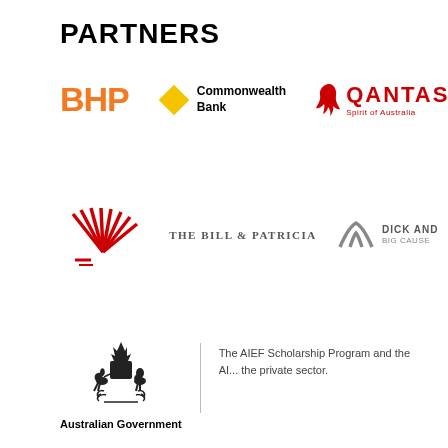PARTNERS
[Figure (logo): BHP logo in orange bold text]
[Figure (logo): Commonwealth Bank logo with yellow diamond and text]
[Figure (logo): Qantas logo with red kangaroo and text QANTAS Spirit of Australia]
[Figure (logo): Red sunburst/fan logo]
[Figure (logo): THE BILL & PATRICIA text logo]
[Figure (logo): Dick And logo with stylized mountain/arch icon]
[Figure (logo): Australian Government crest with kangaroo and emu]
The AIEF Scholarship Program and the AI... the private sector.